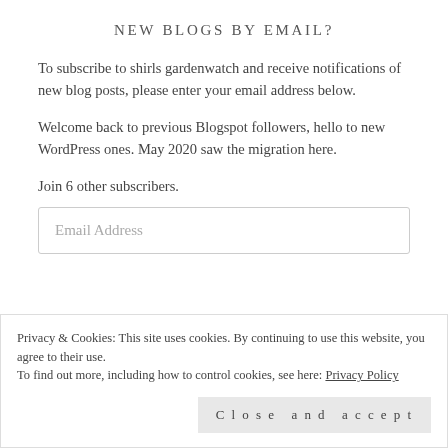NEW BLOGS BY EMAIL?
To subscribe to shirls gardenwatch and receive notifications of new blog posts, please enter your email address below.
Welcome back to previous Blogspot followers, hello to new WordPress ones. May 2020 saw the migration here.
Join 6 other subscribers.
Email Address
Privacy & Cookies: This site uses cookies. By continuing to use this website, you agree to their use.
To find out more, including how to control cookies, see here: Privacy Policy
Close and accept